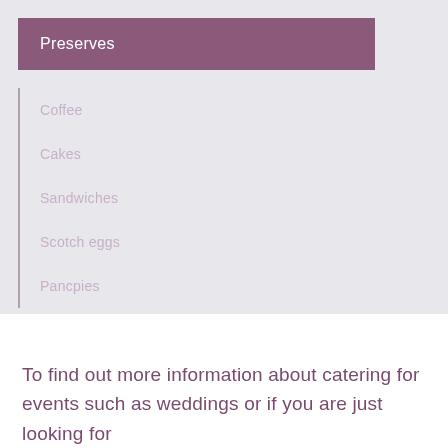Preserves
Coffee
Cakes
Sandwiches
Scotch eggs
Pancpies
To find out more information about catering for events such as weddings or if you are just looking for